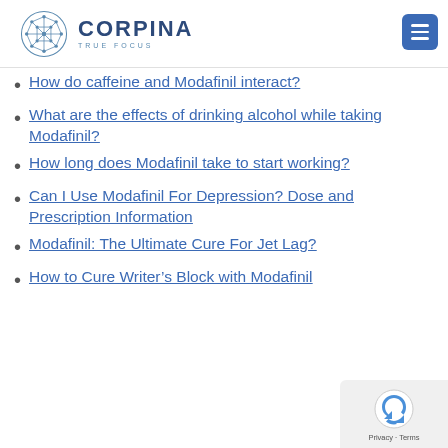CORPINA TRUE FOCUS
How do caffeine and Modafinil interact?
What are the effects of drinking alcohol while taking Modafinil?
How long does Modafinil take to start working?
Can I Use Modafinil For Depression? Dose and Prescription Information
Modafinil: The Ultimate Cure For Jet Lag?
How to Cure Writer’s Block with Modafinil